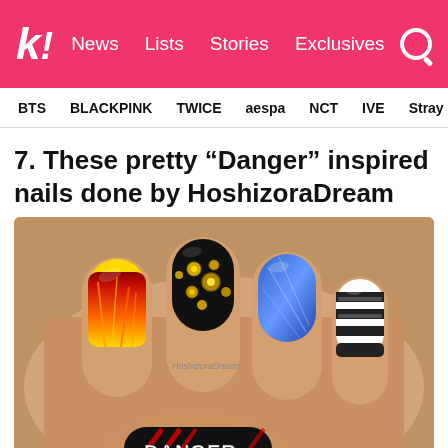k! News Lists Stories Exclusives
BTS  BLACKPINK  TWICE  aespa  NCT  IVE  Stray
7. These pretty “Danger” inspired nails done by HoshizoraDream
[Figure (photo): Close-up photograph of hand showing decorated nails with Danger-themed nail art: flame gradient nail, black nail with gold studs/gears, blue glitter nail, black and white striped nail, and thumb nail with red and black stripes and DANGER text written in white.]